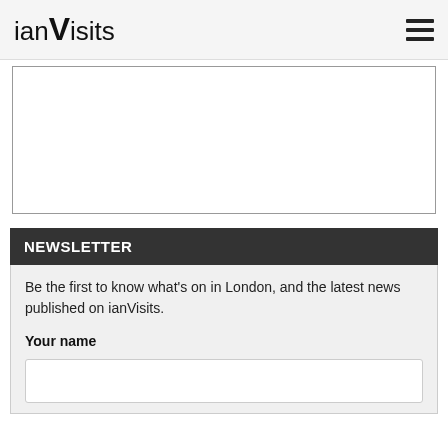ianVisits
[Figure (other): Empty white advertisement or content box with a thin border]
NEWSLETTER
Be the first to know what's on in London, and the latest news published on ianVisits.
Your name
[Figure (other): Empty text input field for name entry]